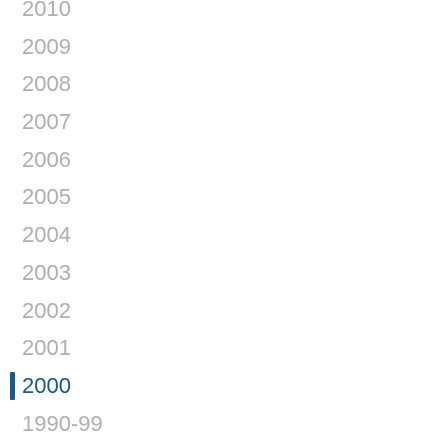2010
2009
2008
2007
2006
2005
2004
2003
2002
2001
2000
1990-99
1980-89
1970-79